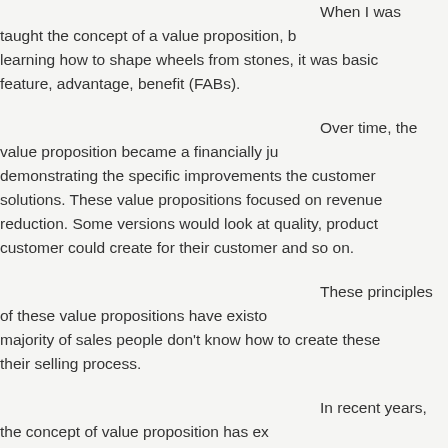When I was taught the concept of a value proposition, b... learning how to shape wheels from stones, it was basic... feature, advantage, benefit (FABs).
Over time, the value proposition became a financially ju... demonstrating the specific improvements the customer... solutions. These value propositions focused on revenue... reduction. Some versions would look at quality, product... customer could create for their customer and so on.
These principles of these value propositions have existo... majority of sales people don't know how to create these... their selling process.
In recent years, the concept of value proposition has ex... focusing on the value our solutions created when imple... people create with the customer in their buying process...
Lots of research shows customers don't know how to b... value through helping the customer more effectively na... been critical as an element of the value proposition.
But the concept of the value proposition continued to ex...